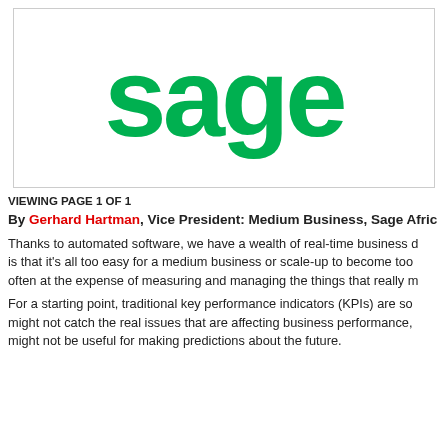[Figure (logo): Sage company logo — large bold green lowercase text reading 'sage' on white background with light grey border]
VIEWING PAGE 1 OF 1
By Gerhard Hartman, Vice President: Medium Business, Sage Africa
Thanks to automated software, we have a wealth of real-time business data at our fingertips. The problem is that it's all too easy for a medium business or scale-up to become too focused on metrics that are easy to track, often at the expense of measuring and managing the things that really matter.
For a starting point, traditional key performance indicators (KPIs) are so backward-looking that they might not catch the real issues that are affecting business performance, or they might not be useful for making predictions about the future.